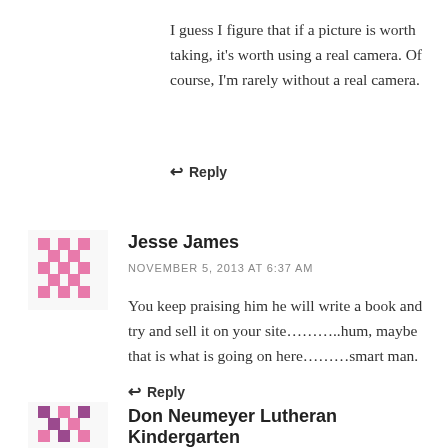I guess I figure that if a picture is worth taking, it's worth using a real camera. Of course, I'm rarely without a real camera.
Reply
[Figure (illustration): Pink pixel/mosaic avatar for Jesse James commenter]
Jesse James
NOVEMBER 5, 2013 AT 6:37 AM
You keep praising him he will write a book and try and sell it on your site………..hum, maybe that is what is going on here………smart man.
Reply
[Figure (illustration): Purple/pink pixel/mosaic avatar for Don Neumeyer Lutheran Kindergarten commenter]
Don Neumeyer Lutheran Kindergarten